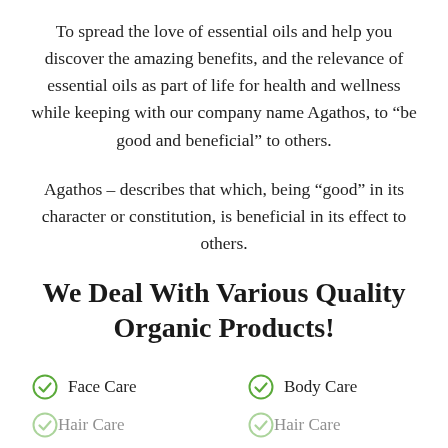To spread the love of essential oils and help you discover the amazing benefits, and the relevance of essential oils as part of life for health and wellness while keeping with our company name Agathos, to “be good and beneficial” to others.
Agathos – describes that which, being “good” in its character or constitution, is beneficial in its effect to others.
We Deal With Various Quality Organic Products!
Face Care
Body Care
Hair Care (partial)
Hair Care (partial)